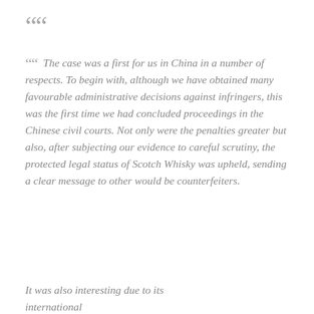““
““ The case was a first for us in China in a number of respects. To begin with, although we have obtained many favourable administrative decisions against infringers, this was the first time we had concluded proceedings in the Chinese civil courts. Not only were the penalties greater but also, after subjecting our evidence to careful scrutiny, the protected legal status of Scotch Whisky was upheld, sending a clear message to other would be counterfeiters.
It was also interesting due to its international...